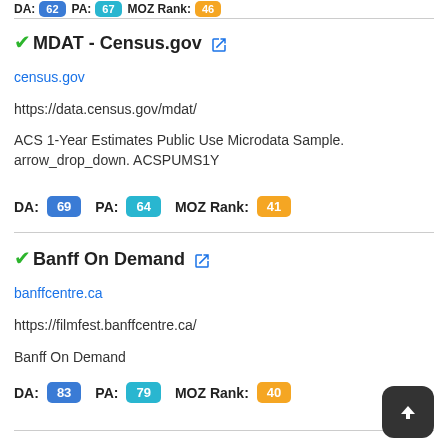DA: 62  PA: 67  MOZ Rank: 46
MDAT - Census.gov
census.gov
https://data.census.gov/mdat/
ACS 1-Year Estimates Public Use Microdata Sample. arrow_drop_down. ACSPUMS1Y
DA: 69  PA: 64  MOZ Rank: 41
Banff On Demand
banffcentre.ca
https://filmfest.banffcentre.ca/
Banff On Demand
DA: 83  PA: 79  MOZ Rank: 40